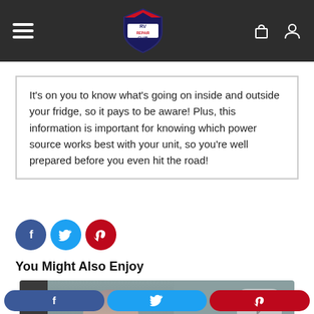RV Repair Club navigation header
It’s on you to know what’s going on inside and outside your fridge, so it pays to be aware! Plus, this information is important for knowing which power source works best with your unit, so you’re well prepared before you even hit the road!
[Figure (other): Social share icons: Facebook (blue circle), Twitter (blue circle), Pinterest (red circle)]
You Might Also Enjoy
[Figure (photo): Thumbnail photo of a man, part of a 'You Might Also Enjoy' recommendation section with a comment bubble icon overlay]
Social share bar: Facebook, Twitter, Pinterest buttons